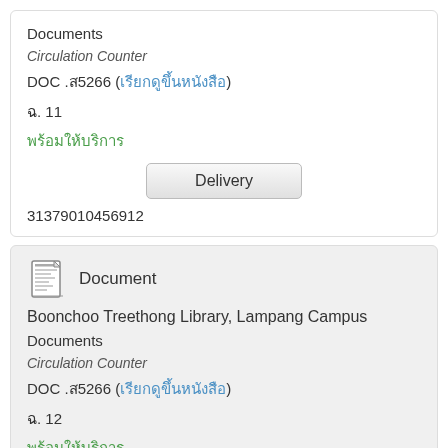Documents
Circulation Counter
DOC .ส5266 (เรียกดูขึ้นหนังสือ)
ฉ. 11
พร้อมให้บริการ
Delivery
31379010456912
[Figure (illustration): Document/book icon]
Document
Boonchoo Treethong Library, Lampang Campus
Documents
Circulation Counter
DOC .ส5266 (เรียกดูขึ้นหนังสือ)
ฉ. 12
พร้อมให้บริการ
Delivery